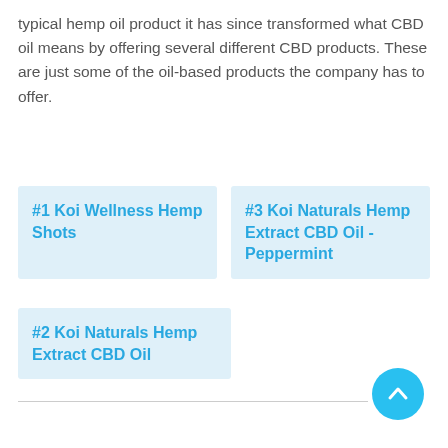typical hemp oil product it has since transformed what CBD oil means by offering several different CBD products. These are just some of the oil-based products the company has to offer.
#1 Koi Wellness Hemp Shots
#3 Koi Naturals Hemp Extract CBD Oil - Peppermint
#2 Koi Naturals Hemp Extract CBD Oil